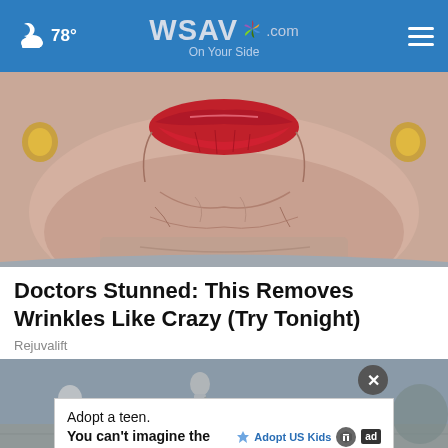78° WSAV.com On Your Side
[Figure (photo): Close-up photo of an elderly woman's lower face showing wrinkled skin around chin and mouth area with red lipstick, gold earrings visible on sides]
Doctors Stunned: This Removes Wrinkles Like Crazy (Try Tonight)
Rejuvalift
[Figure (photo): Partial photo of street scene with people walking, overlaid with an advertisement banner]
Adopt a teen. You can't imagine the reward. Adopt US Kids ad